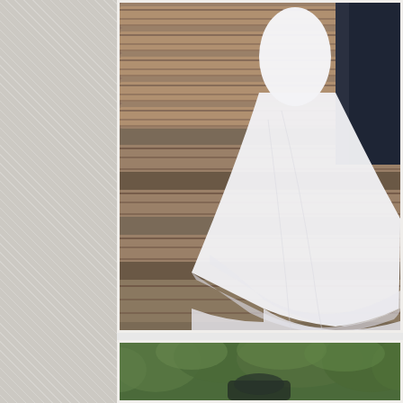[Figure (photo): Wedding photo showing a bride in a flowing white tulle gown and a groom in dark suit, standing on rustic log/timber steps. Only the lower bodies and dress train are visible. The bride's white dress cascades across the wooden steps.]
[Figure (photo): Partial wedding photo showing blurred green foliage and trees in the background, with a dark figure at the bottom — appears to be the beginning of another wedding couple photo in a forest setting.]